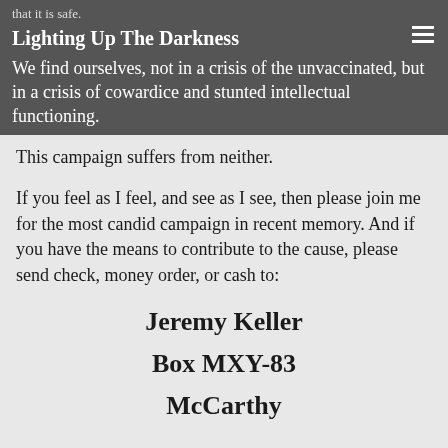that it is safe.
Lighting Up The Darkness
We find ourselves, not in a crisis of the unvaccinated, but in a crisis of cowardice and stunted intellectual functioning.
This campaign suffers from neither.
If you feel as I feel, and see as I see, then please join me for the most candid campaign in recent memory. And if you have the means to contribute to the cause, please send check, money order, or cash to:
Jeremy Keller
Box MXY-83
McCarthy